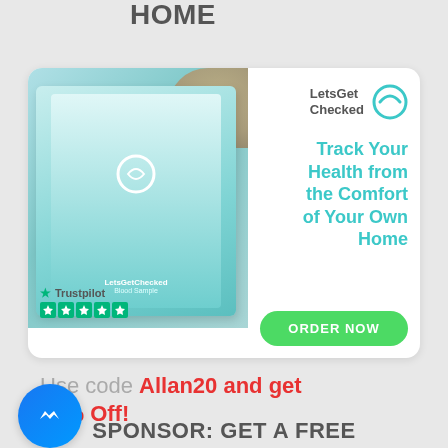COMFORT OF YOUR OWN HOME
[Figure (photo): LetsGetChecked advertisement card showing a health testing kit box being opened, with Trustpilot 5-star rating, tagline 'Track Your Health from the Comfort of Your Own Home', and an ORDER NOW button]
Use code Allan20 and get 20% Off!
[Figure (logo): Facebook Messenger circular blue icon]
SPONSOR: GET A FREE